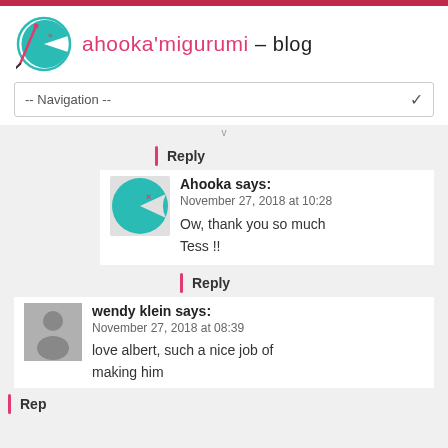[Figure (logo): Ahooka'migurumi blog logo with teal pac-man style character and pink needle/hook icon]
ahooka'migurumi – blog
-- Navigation --
Reply
Ahooka says:
November 27, 2018 at 10:28
Ow, thank you so much Tess !!
Reply
wendy klein says:
November 27, 2018 at 08:39
love albert, such a nice job of making him
Reply